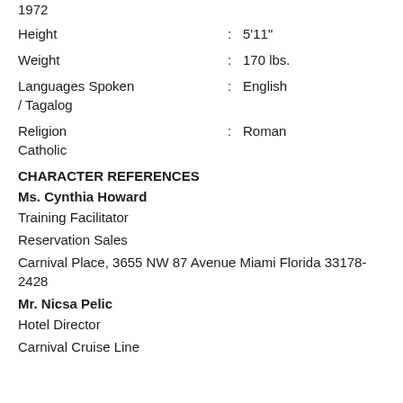Birth date : Oct 29, 1972
Height : 5'11"
Weight : 170 lbs.
Languages Spoken : English / Tagalog
Religion : Roman Catholic
CHARACTER REFERENCES
Ms. Cynthia Howard
Training Facilitator
Reservation Sales
Carnival Place, 3655 NW 87 Avenue Miami Florida 33178-2428
Mr. Nicsa Pelic
Hotel Director
Carnival Cruise Line